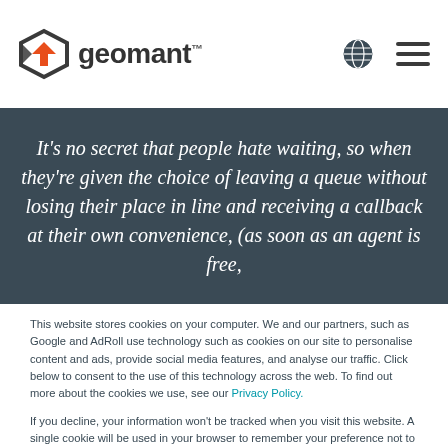[Figure (logo): Geomant logo with orange and dark grey diamond/hexagon icon and the text 'geomant™']
[Figure (other): Globe icon and hamburger menu icon in the top right of the header]
It's no secret that people hate waiting, so when they're given the choice of leaving a queue without losing their place in line and receiving a callback at their own convenience, (as soon as an agent is free,
This website stores cookies on your computer. We and our partners, such as Google and AdRoll use technology such as cookies on our site to personalise content and ads, provide social media features, and analyse our traffic. Click below to consent to the use of this technology across the web. To find out more about the cookies we use, see our Privacy Policy.
If you decline, your information won't be tracked when you visit this website. A single cookie will be used in your browser to remember your preference not to be tracked.